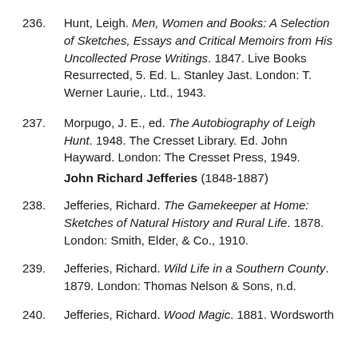236. Hunt, Leigh. Men, Women and Books: A Selection of Sketches, Essays and Critical Memoirs from His Uncollected Prose Writings. 1847. Live Books Resurrected, 5. Ed. L. Stanley Jast. London: T. Werner Laurie,. Ltd., 1943.
237. Morpugo, J. E., ed. The Autobiography of Leigh Hunt. 1948. The Cresset Library. Ed. John Hayward. London: The Cresset Press, 1949.
John Richard Jefferies (1848-1887)
238. Jefferies, Richard. The Gamekeeper at Home: Sketches of Natural History and Rural Life. 1878. London: Smith, Elder, & Co., 1910.
239. Jefferies, Richard. Wild Life in a Southern County. 1879. London: Thomas Nelson & Sons, n.d.
240. Jefferies, Richard. Wood Magic. 1881. Wordsworth